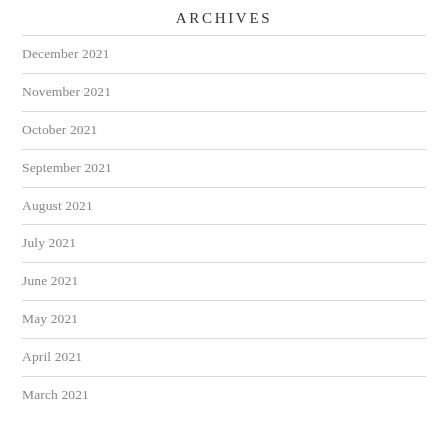ARCHIVES
December 2021
November 2021
October 2021
September 2021
August 2021
July 2021
June 2021
May 2021
April 2021
March 2021